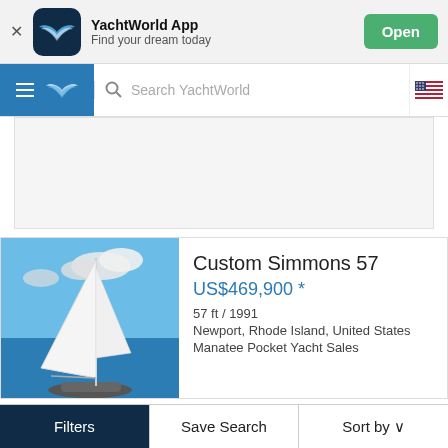[Figure (screenshot): YachtWorld App banner with dark navy icon showing wing logo, app name, subtitle, and green Open button]
[Figure (screenshot): Navigation bar with blue hamburger menu, YachtWorld wing logo, search box with magnifier icon, and US flag icon]
[Figure (screenshot): Grey advertisement placeholder rectangle]
[Figure (photo): Sailboat with white sail on blue ocean water under cloudy sky]
Custom Simmons 57
US$469,900 *
57 ft / 1991
Newport, Rhode Island, United States
Manatee Pocket Yacht Sales
Filters   Save Search   Sort by